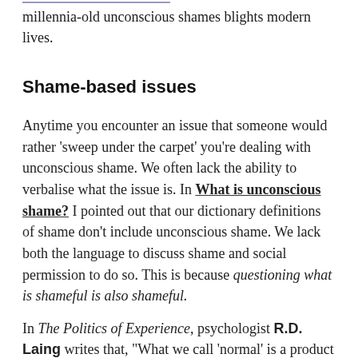millennia-old unconscious shames blights modern lives.
Shame-based issues
Anytime you encounter an issue that someone would rather 'sweep under the carpet' you're dealing with unconscious shame. We often lack the ability to verbalise what the issue is. In What is unconscious shame? I pointed out that our dictionary definitions of shame don't include unconscious shame. We lack both the language to discuss shame and social permission to do so. This is because questioning what is shameful is also shameful.
In The Politics of Experience, psychologist R.D. Laing writes that, "What we call 'normal' is a product of repression, denial, splitting, projection, introjection